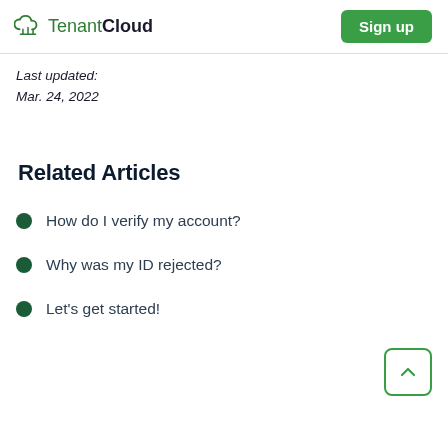TenantCloud | Sign up
Last updated:
Mar. 24, 2022
Related Articles
How do I verify my account?
Why was my ID rejected?
Let's get started!